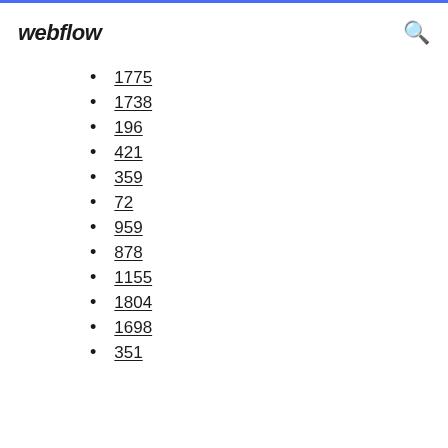webflow
1775
1738
196
421
359
72
959
878
1155
1804
1698
351